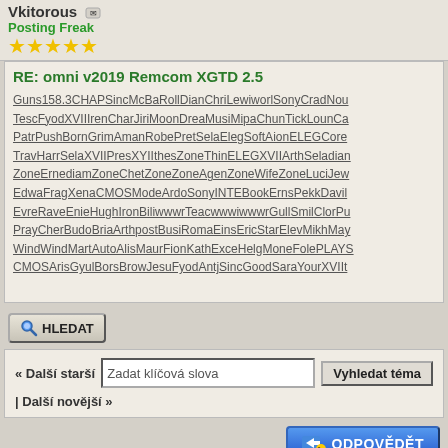Vkitorous
Posting Freak
RE: omni v2019 Remcom XGTD 2.5
Guns158.3CHAPSincMcBaRollDianChriLewiworlSonyCradNou TescFyodXVIIIrenCharJiriMoonDreaMusiMipaChunTickLounCa PatrPushBornGrimAmanRobePretSelaElegSoftAionELEGCore TravHarrSelaXVIIPresXYIIthesZoneThinELEGXVIIArthSeladian ZoneErnediamZoneChetZoneZoneAgenZoneWifeZoneLuciJew EdwaFragXenaCMOSModeArdoSonyINTEBookErnsPekkDavil EvreRaveEnieHughIronBiliwwwrTeacwwwiwwwrGullSmilClorPu PrayCherBudoBriaArthpostBusiRomaEinsEricStarElevMikhMay WindWindMartAutoAlisMaurFionKathExceHelgMoneFolePLAYS CMOSArisGyulBorsBrowJesuFyodAntjSincGoodSaraYourXVIIt
HLEDAT
« Další starší | Další novější »
Zadat klíčová slova
Vyhledat téma
ODPOVĚDĚT
Náhled k tisku